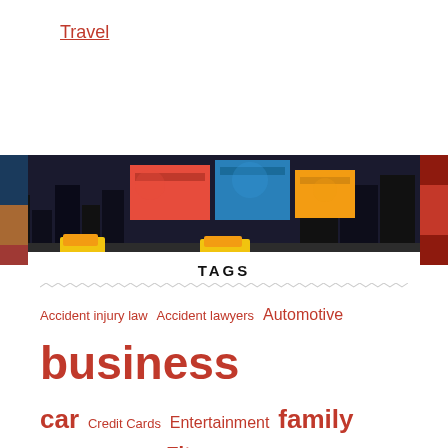Travel
[Figure (photo): Nighttime city street scene with bright billboards and yellow taxis]
TAGS
Accident injury law  Accident lawyers  Automotive  business  car  Credit Cards  Entertainment  family  fashion  Finance  Fitness  Food & Health  general  health  Healthy Tips  home  Home Decorating  Industries  insurance  Investment  Investments  law  Leggings  Lifestyle  Lose Weight  marketing  Matching Professionals  Mental Health  Movavi Video Editor  online  Personal Injury Lawyer  real estate  Real Estate Market  save money  SEO  supplements  symptoms  tech  tips  Trading  travel